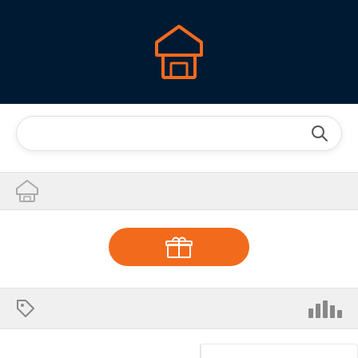[Figure (screenshot): App UI screenshot showing a dark navy header with an orange store/shop icon, a white rounded search bar with a magnifying glass icon, a light gray navigation strip with a shop icon, an orange pill-shaped button with a gift/box icon, a light gray filter strip with a tag icon and bar chart icon, and two partially visible product cards at the bottom each showing a shop icon and the text 'Modov']
Modov
Modov